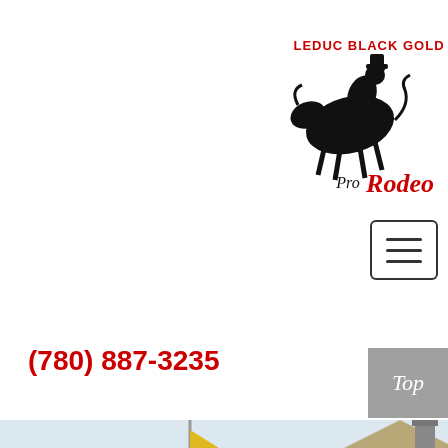[Figure (logo): Leduc Black Gold Pro Rodeo logo with bull rider silhouette, red text 'LEDUC BLACK GOLD' and stylized 'Pro Rodeo' text]
[Figure (other): Hamburger menu button (three horizontal lines) with rounded rectangle border]
(780) 887-3235
[Figure (other): Grey 'Top' button on right side]
[Figure (photo): Outdoor scene with yellow flags on poles, trees, and a house rooftop visible. People wearing cowboy hats at the bottom.]